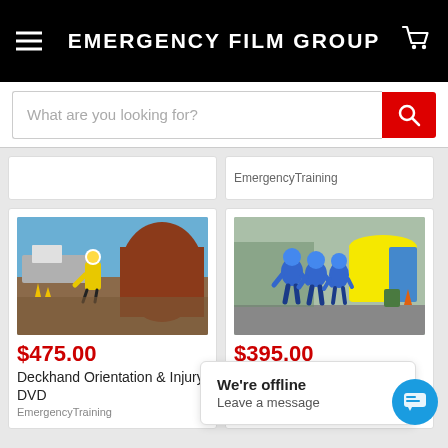EMERGENCY FILM GROUP
What are you looking for?
EmergencyTraining
[Figure (photo): Person in yellow hazmat suit working on a barge/boat deck near a large rusty tank]
$475.00
Deckhand Orientation & Injury DVD
EmergencyTraining
[Figure (photo): Group of people in blue full-body protective suits walking outdoors near a yellow inflatable tent]
$395.00
Decon Team DVD
We're offline
Leave a message